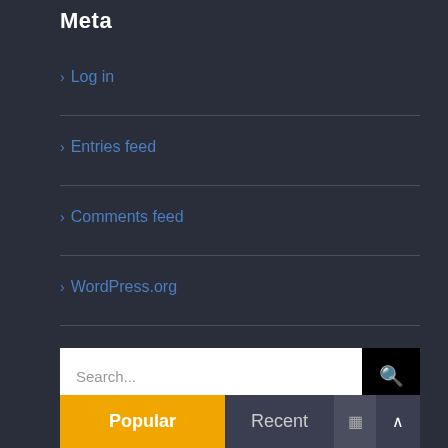Meta
> Log in
> Entries feed
> Comments feed
> WordPress.org
Search...
Popular
Recent